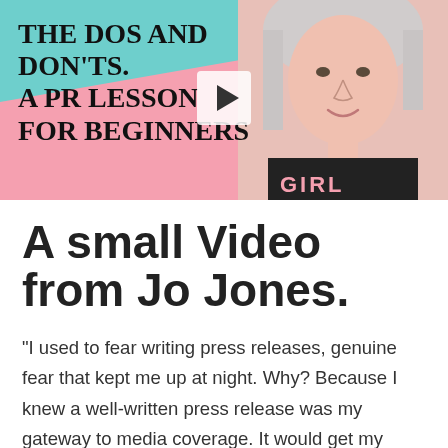[Figure (screenshot): Video thumbnail showing a woman in a black 'GIRL' t-shirt against a pink background with teal and pink graphic blobs. Text overlay reads 'THE DOS AND DON'TS. A PR LESSON FOR BEGINNERS' with a play button triangle.]
A small Video from Jo Jones.
"I used to fear writing press releases, genuine fear that kept me up at night. Why? Because I knew a well-written press release was my gateway to media coverage. It would get my